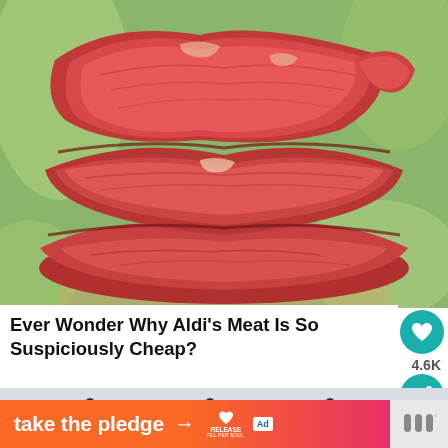[Figure (photo): Stack of raw red beef/meat cuts stacked on top of each other against a blurred green background]
Ever Wonder Why Aldi's Meat Is So Suspiciously Cheap?
[Figure (photo): Close-up of a rain gutter or fence with dark metal hooks/hangers visible against a blurred background]
[Figure (infographic): Orange-to-pink gradient ad banner reading 'take the pledge' with an arrow, Release logo with heart icon, and an ad indicator badge]